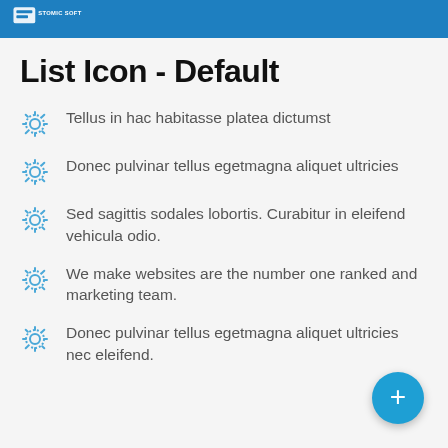Stomic Soft
List Icon - Default
Tellus in hac habitasse platea dictumst
Donec pulvinar tellus egetmagna aliquet ultricies
Sed sagittis sodales lobortis. Curabitur in eleifend vehicula odio.
We make websites are the number one ranked and marketing team.
Donec pulvinar tellus egetmagna aliquet ultricies nec eleifend.